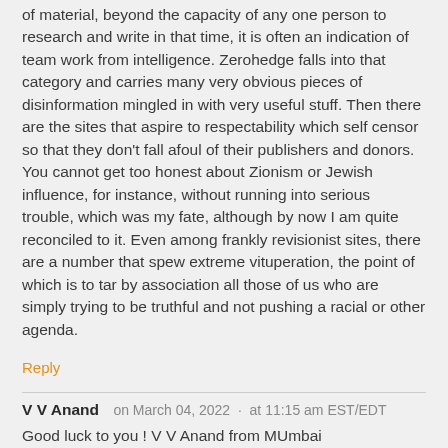of material, beyond the capacity of any one person to research and write in that time, it is often an indication of team work from intelligence. Zerohedge falls into that category and carries many very obvious pieces of disinformation mingled in with very useful stuff. Then there are the sites that aspire to respectability which self censor so that they don't fall afoul of their publishers and donors. You cannot get too honest about Zionism or Jewish influence, for instance, without running into serious trouble, which was my fate, although by now I am quite reconciled to it. Even among frankly revisionist sites, there are a number that spew extreme vituperation, the point of which is to tar by association all those of us who are simply trying to be truthful and not pushing a racial or other agenda.
Reply
V V Anand  on March 04, 2022  ·  at 11:15 am EST/EDT
Good luck to you ! V V Anand from MUmbai
Reply
Dane  on March 03, 2022  ·  at 4:01 pm EST/EDT